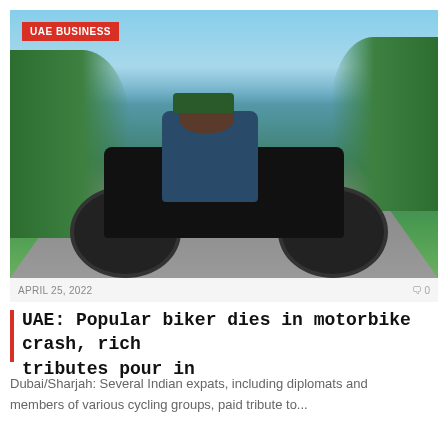[Figure (photo): Man posing on a black Harley-Davidson motorcycle on a road surrounded by green trees and blue sky. He is wearing a blue shirt, dark jeans, and a green cap.]
UAE BUSINESS
APRIL 25, 2022   0
UAE: Popular biker dies in motorbike crash, rich tributes pour in
Dubai/Sharjah: Several Indian expats, including diplomats and members of various cycling groups, paid tribute to...